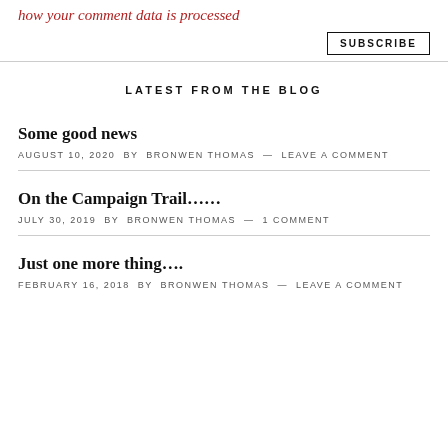how your comment data is processed
SUBSCRIBE
LATEST FROM THE BLOG
Some good news
AUGUST 10, 2020 BY BRONWEN THOMAS — LEAVE A COMMENT
On the Campaign Trail……
JULY 30, 2019 BY BRONWEN THOMAS — 1 COMMENT
Just one more thing….
FEBRUARY 16, 2018 BY BRONWEN THOMAS — LEAVE A COMMENT